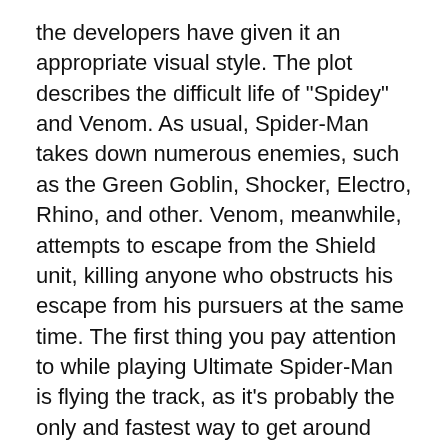the developers have given it an appropriate visual style. The plot describes the difficult life of "Spidey" and Venom. As usual, Spider-Man takes down numerous enemies, such as the Green Goblin, Shocker, Electro, Rhino, and other. Venom, meanwhile, attempts to escape from the Shield unit, killing anyone who obstructs his escape from his pursuers at the same time. The first thing you pay attention to while playing Ultimate Spider-Man is flying the track, as it's probably the only and fastest way to get around three-dimensional New York City. This aspect of the game, as well as many others, is done flawlessly when comparing this game to the previously released second installment. Also, the mechanics of climbing the walls is quite well developed. Now you don't just have to jump on the wall, but press an advice key that allows